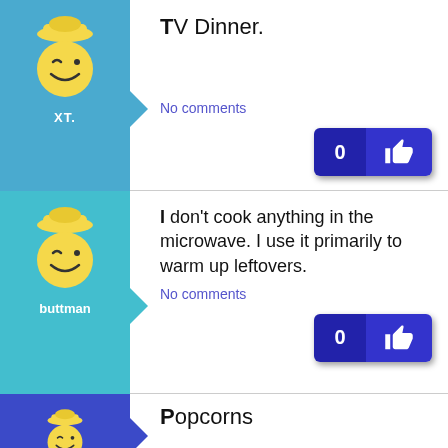[Figure (illustration): User avatar for XT. - cartoon winking chef/pilgrim face on blue background]
XT.
TV Dinner.
No comments
[Figure (illustration): Like button showing 0 likes with thumbs up icon]
[Figure (illustration): User avatar for buttman - cartoon winking chef/pilgrim face on teal background]
buttman
I don't cook anything in the microwave. I use it primarily to warm up leftovers.
No comments
[Figure (illustration): Like button showing 0 likes with thumbs up icon]
[Figure (illustration): User avatar - cartoon winking chef/pilgrim face on dark blue background]
Popcorns